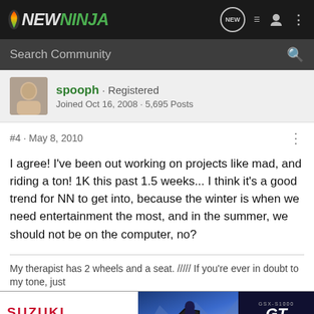NEWNINJA — navigation bar with logo and icons
Search Community
spooph · Registered
Joined Oct 16, 2008 · 5,695 Posts
#4 · May 8, 2010
I agree! I've been out working on projects like mad, and riding a ton! 1K this past 1.5 weeks... I think it's a good trend for NN to get into, because the winter is when we need entertainment the most, and in the summer, we should not be on the computer, no?
My therapist has 2 wheels and a seat. ///// If you're ever in doubt to my tone, just
[Figure (screenshot): Suzuki GSX-S1000GT advertisement banner with motorcycle image and 'SEE IT NOW' call to action]